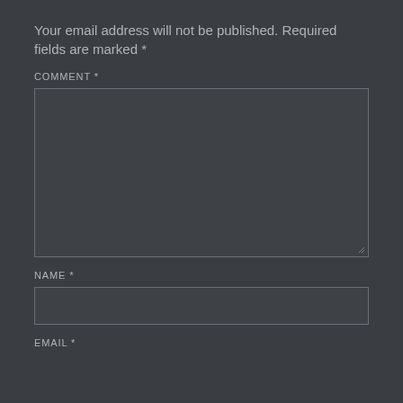Your email address will not be published. Required fields are marked *
COMMENT *
[Figure (other): Large textarea input box for comment, dark background with border and resize handle]
NAME *
[Figure (other): Single-line text input box for name, dark background with border]
EMAIL *